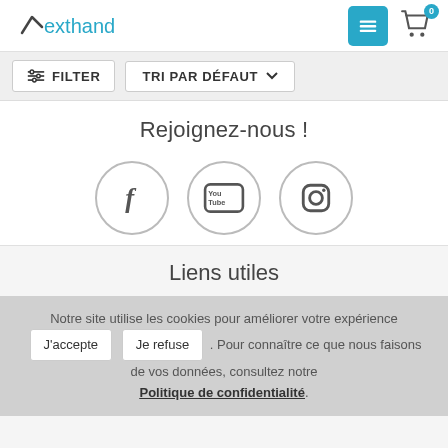exthand — navigation header with logo, menu button, and cart
FILTER  TRI PAR DÉFAUT
Rejoignez-nous !
[Figure (illustration): Three circular social media icons: Facebook (f), YouTube (You Tube), Instagram (camera outline)]
Liens utiles
Notre site utilise les cookies pour améliorer votre expérience J'accepte Je refuse . Pour connaître ce que nous faisons de vos données, consultez notre Politique de confidentialité.